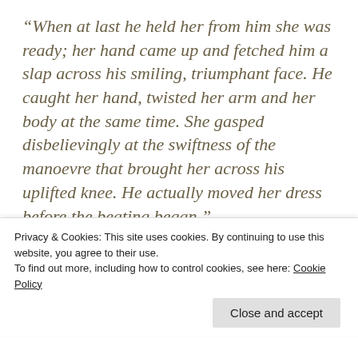“When at last he held her from him she was ready; her hand came up and fetched him a slap across his smiling, triumphant face. He caught her hand, twisted her arm and her body at the same time. She gasped disbelievingly at the swiftness of the manoevre that brought her across his uplifted knee. He actually moved her dress before the beating began.”
Privacy & Cookies: This site uses cookies. By continuing to use this website, you agree to their use. To find out more, including how to control cookies, see here: Cookie Policy